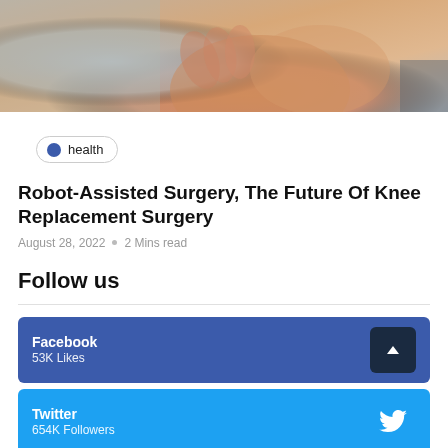[Figure (photo): Close-up photo of a person holding their knee, showing skin and fabric background]
health
Robot-Assisted Surgery, The Future Of Knee Replacement Surgery
August 28, 2022  ○  2 Mins read
Follow us
Facebook
53K Likes
Twitter
654K Followers